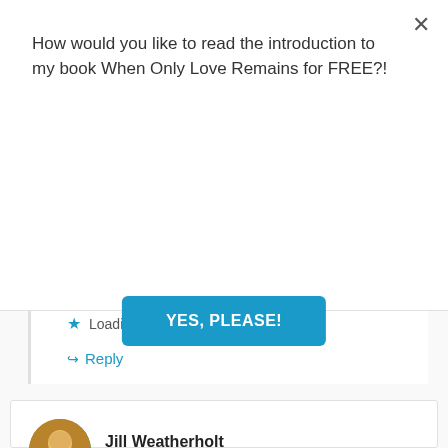How would you like to read the introduction to my book When Only Love Remains for FREE?!
YES, PLEASE!
Loading...
Reply
Jill Weatherholt
April 11, 2019 at 7:29 am
Thank you for this, Lauren. My mother has always been my best friend. After her diagnosis in 2012,